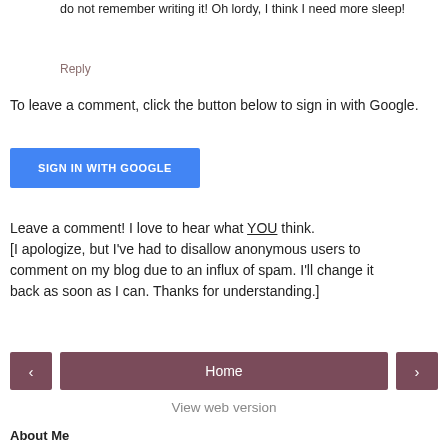do not remember writing it! Oh lordy, I think I need more sleep!
Reply
To leave a comment, click the button below to sign in with Google.
[Figure (other): Blue 'SIGN IN WITH GOOGLE' button]
Leave a comment! I love to hear what YOU think. [I apologize, but I've had to disallow anonymous users to comment on my blog due to an influx of spam. I'll change it back as soon as I can. Thanks for understanding.]
[Figure (other): Navigation bar with left arrow button, Home button, and right arrow button]
View web version
About Me